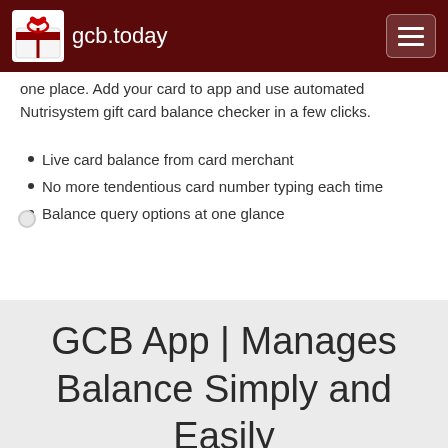gcb.today
one place. Add your card to app and use automated Nutrisystem gift card balance checker in a few clicks.
Live card balance from card merchant
No more tendentious card number typing each time
Balance query options at one glance
GCB App | Manages Balance Simply and Easily